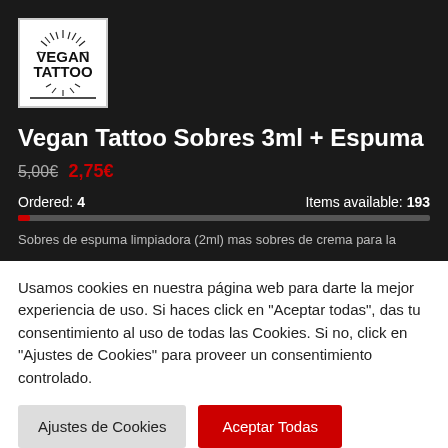[Figure (logo): Vegan Tattoo brand logo with sun rays and bold text]
Vegan Tattoo Sobres 3ml + Espuma
5,00€ 2,75€
Ordered: 4    Items available: 193
Sobres de espuma limpiadora (2ml) mas sobres de crema para la
Usamos cookies en nuestra página web para darte la mejor experiencia de uso. Si haces click en "Aceptar todas", das tu consentimiento al uso de todas las Cookies. Si no, click en "Ajustes de Cookies" para proveer un consentimiento controlado.
Ajustes de Cookies
Aceptar Todas